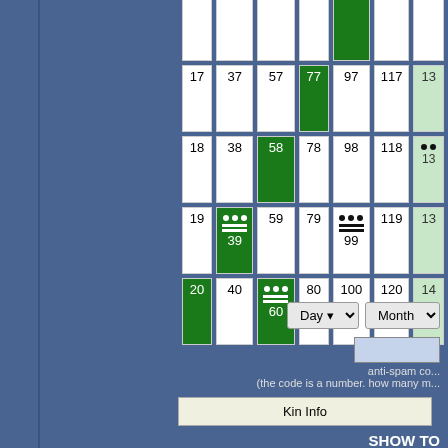[Figure (other): Mayan calendar kin number grid. Partial view showing columns with numbers 17-20, 37-40, 57-60, 77-80, 97-100, 117-120, 137-140. Some cells colored dark green (active/selected) or light green. Cells 39 and 60 show Mayan glyph dots-and-bars symbols on green background. Cells 99 show dots-and-bar on white background.]
[Figure (screenshot): UI controls: Day and Month dropdowns, anti-spam code input field, hint text, Kin Info button, SHOW TO button]
anti-spam co...
(the code is a number. how many m...
Kin Info
SHOW TO
IMIX
Kin 1...